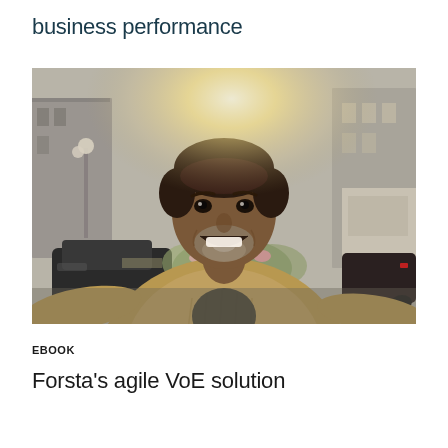business performance
[Figure (photo): A smiling middle-aged man with a beard wearing a tan/khaki knit cardigan, photographed outdoors on a city street with a bright sunburst behind his head. Background shows blurred cars, buildings, and flowers.]
EBOOK
Forsta's agile VoE solution